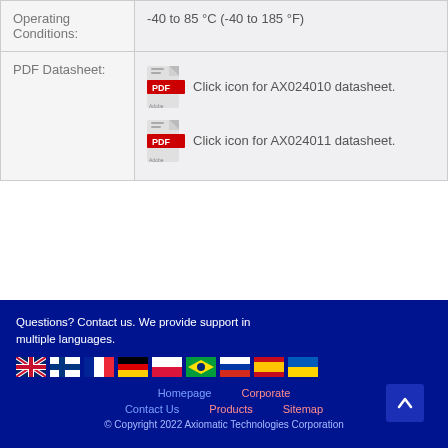|  |  |
| --- | --- |
| Operating Conditions: | -40 to 85 °C (-40 to 185 °F) |
| PDF Datasheet: | Click icon for AX024010 datasheet.
Click icon for AX024011 datasheet. |
Questions? Contact us. We provide support in multiple languages.
Homepage  Corporate  Contact Us  Products  Sitemap  © Copyright 2022 Axiomatic Technologies Corporation